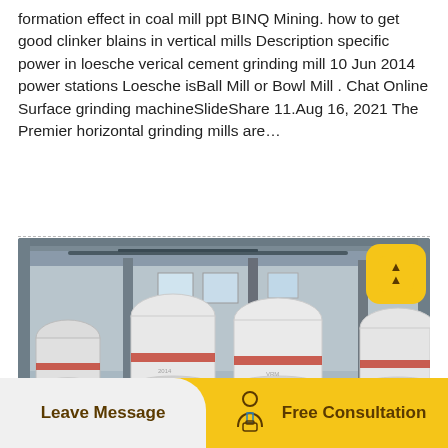formation effect in coal mill ppt BINQ Mining. how to get good clinker blains in vertical mills Description specific power in loesche verical cement grinding mill 10 Jun 2014 power stations Loesche isBall Mill or Bowl Mill . Chat Online Surface grinding machineSlideShare 11.Aug 16, 2021 The Premier horizontal grinding mills are…
[Figure (photo): Industrial factory interior showing multiple large white-wrapped vertical grinding mills (cement or coal mills) with red bands, standing on a concrete floor under a metal beam roof structure.]
Leave Message
Free Consultation